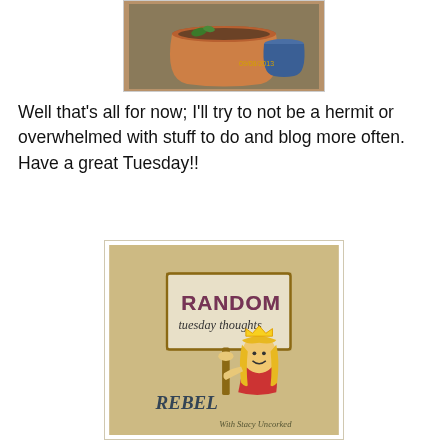[Figure (photo): Photo of a terracotta flower pot with soil, dated 09/08/2013]
Well that's all for now; I'll try to not be a hermit or overwhelmed with stuff to do and blog more often.  Have a great Tuesday!!
[Figure (illustration): Random Tuesday Thoughts blog badge showing a cartoon woman with crown holding a sign reading RANDOM tuesday thoughts, with text REBEL and With Stacy Uncorked at bottom]